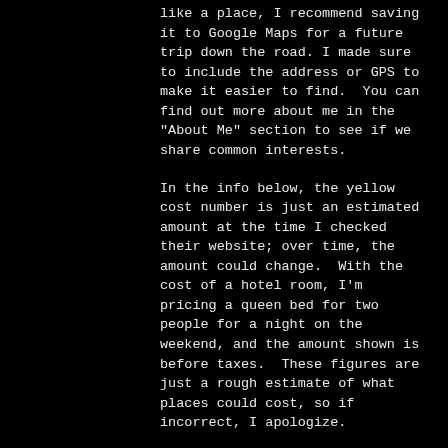like a place, I recommend saving it to Google Maps for a future trip down the road. I made sure to include the address or GPS to make it easier to find.  You can find out more about me in the "About Me" section to see if we share common interests.
In the info below, the yellow cost number is just an estimated amount at the time I checked their website; over time, the amount could change.  With the cost of a hotel room, I'm pricing a queen bed for two people for a night on the weekend, and the amount shown is before taxes.  These figures are just a rough estimate of what places could cost, so if incorrect, I apologize.
Breakfast
- Spalding's Bakery
740 Winchester Rd, Lexington, KY 40505